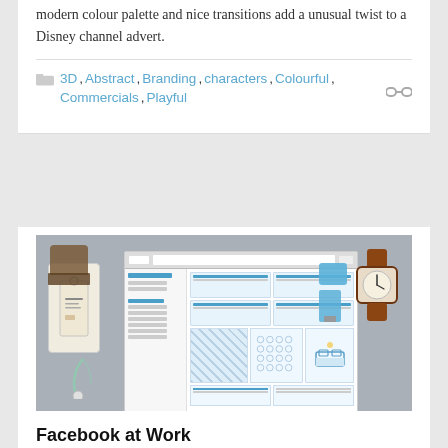modern colour palette and nice transitions add a unusual twist to a Disney channel advert.
3D, Abstract, Branding, characters, Colourful, Commercials, Playful
[Figure (photo): Flat lay photo showing a Facebook at Work webpage mockup displayed on a browser window, surrounded by physical objects including a price tag, a wristwatch, blue USB drive and eraser, and earphones on a grey surface.]
Facebook at Work
Clim from Sebas & Clim fame has now gone solo and produced this nice infographic for Facebook. It's wonderfully designed as ever but it's the seamless integration with CGI and photography which